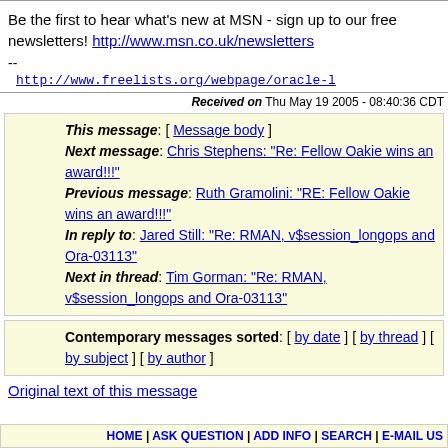Be the first to hear what's new at MSN - sign up to our free newsletters! http://www.msn.co.uk/newsletters
--
http://www.freelists.org/webpage/oracle-l
Received on Thu May 19 2005 - 08:40:36 CDT
This message: [ Message body ]
Next message: Chris Stephens: "Re: Fellow Oakie wins an award!!!"
Previous message: Ruth Gramolini: "RE: Fellow Oakie wins an award!!!"
In reply to: Jared Still: "Re: RMAN, v$session_longops and Ora-03113"
Next in thread: Tim Gorman: "Re: RMAN, v$session_longops and Ora-03113"
Contemporary messages sorted: [ by date ] [ by thread ] [ by subject ] [ by author ]
Original text of this message
HOME | ASK QUESTION | ADD INFO | SEARCH | E-MAIL US